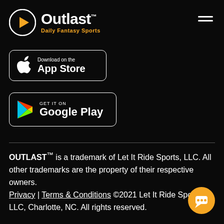[Figure (logo): Outlast Daily Fantasy Sports logo with orange play button icon in a circle and the text Outlast in white with trademark symbol, subtitle Daily Fantasy Sports in orange]
[Figure (screenshot): Download on the App Store button with Apple logo]
[Figure (screenshot): Get it on Google Play button with Google Play triangle logo]
OUTLAST™ is a trademark of Let It Ride Sports, LLC. All other trademarks are the property of their respective owners. Privacy | Terms & Conditions ©2021 Let It Ride Sports, LLC, Charlotte, NC. All rights reserved.